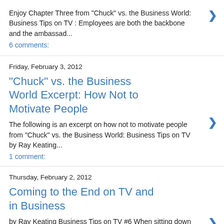Enjoy Chapter Three from "Chuck" vs. the Business World: Business Tips on TV : Employees are both the backbone and the ambassad...
6 comments:
Friday, February 3, 2012
"Chuck" vs. the Business World Excerpt: How Not to Motivate People
The following is an excerpt on how not to motivate people from "Chuck" vs. the Business World: Business Tips on TV by Ray Keating...
1 comment:
Thursday, February 2, 2012
Coming to the End on TV and in Business
by Ray Keating Business Tips on TV #6 When sitting down to write a novel, I basically know how the story is going to end. In the world of t...